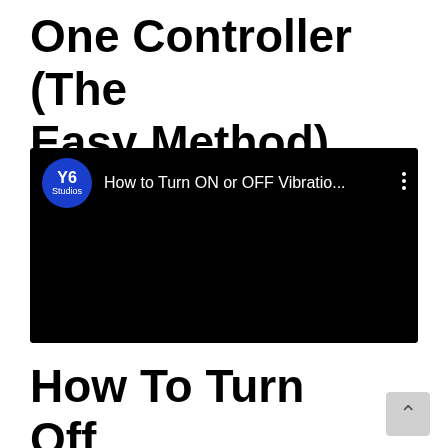One Controller (The Easy Method)
[Figure (screenshot): YouTube video thumbnail/card showing channel logo for Y6 Studios and title 'How to Turn ON or OFF Vibratio...' with a three-dot menu icon, on a black background]
How To Turn Off Vibration In XBOX Controllers... XBOX /